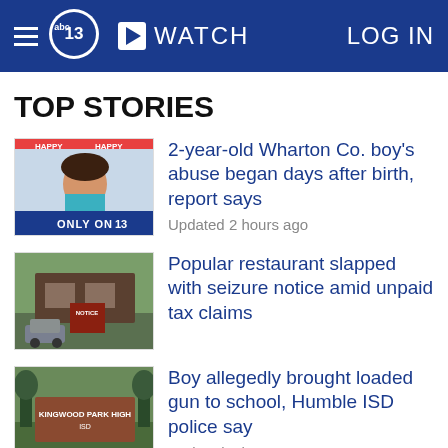abc13 | WATCH | LOG IN
TOP STORIES
[Figure (photo): Thumbnail photo of a young toddler boy at a birthday party with ONLY ON abc13 banner]
2-year-old Wharton Co. boy's abuse began days after birth, report says
Updated 2 hours ago
[Figure (photo): Thumbnail photo of a restaurant exterior with a notice posted on the door]
Popular restaurant slapped with seizure notice amid unpaid tax claims
[Figure (photo): Thumbnail photo of Kingwood Park High school sign]
Boy allegedly brought loaded gun to school, Humble ISD police say
Updated 2 hours ago
Child falls into pond after wandering off in SW Harris Co., HCSO